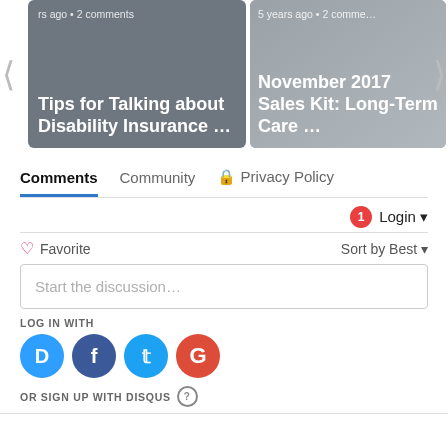[Figure (screenshot): Carousel showing two article cards: 'Tips for Talking about Disability Insurance ...' and 'November 2017 Sales Kit: Long-Term Care ...' with arrows on left and right sides]
Comments    Community    Privacy Policy
1  Login
♡ Favorite    Sort by Best
Start the discussion…
LOG IN WITH
[Figure (infographic): Social login icons: Disqus (blue), Facebook (dark blue), Twitter (light blue), Google (red)]
OR SIGN UP WITH DISQUS ?